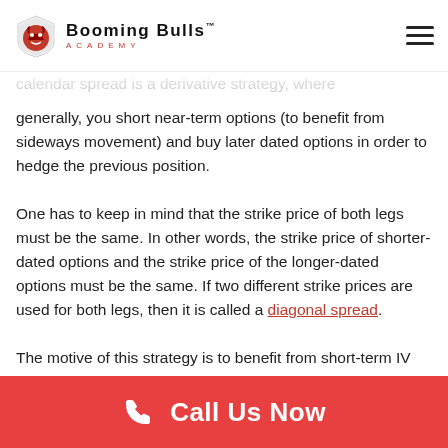Booming Bulls Academy
generally, you short near-term options (to benefit from sideways movement) and buy later dated options in order to hedge the previous position.
One has to keep in mind that the strike price of both legs must be the same. In other words, the strike price of shorter-dated options and the strike price of the longer-dated options must be the same. If two different strike prices are used for both legs, then it is called a diagonal spread.
The motive of this strategy is to benefit from short-term IV crush while minimising the potential loss that wild movements in the market can cause by buying later-dated options.
Call Us Now